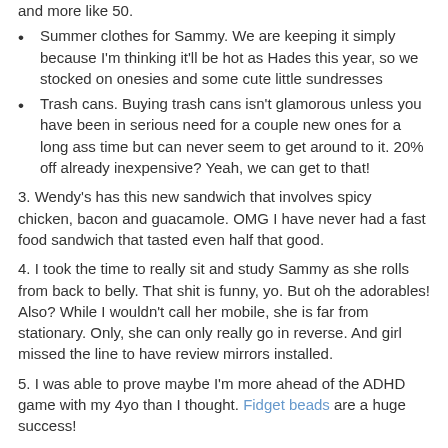Summer clothes for Sammy.  We are keeping it simply because I'm thinking it'll be hot as Hades this year, so we stocked on onesies and some cute little sundresses
Trash cans.  Buying trash cans isn't glamorous unless you have been in serious need for a couple new ones for a long ass time but can never seem to get around to it.  20% off already inexpensive?  Yeah, we can get to that!
3. Wendy's has this new sandwich that involves spicy chicken, bacon and guacamole.  OMG I have never had a fast food sandwich that tasted even half that good.
4. I took the time to really sit and study Sammy as she rolls from back to belly.  That shit is funny, yo.  But oh the adorables!  Also?  While I wouldn't call her mobile, she is far from stationary.  Only, she can only really go in reverse.  And girl missed the line to have review mirrors installed.
5. I was able to prove maybe I'm more ahead of the ADHD game with my 4yo than I thought.  Fidget beads are a huge success!
6. I am taking the Chibi Challenge!  If you would like to aid in my mental health ego, you are welcome to comment with 3 words that describe me.  Think positive!  The results are intended to build